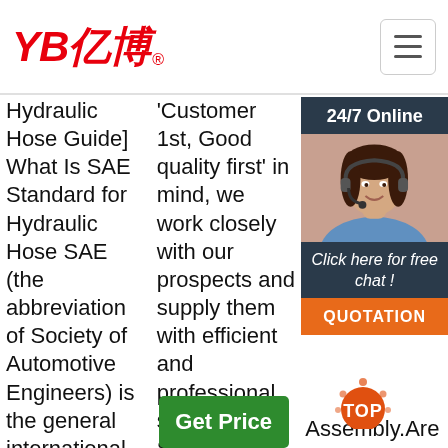[Figure (logo): YB亿博 logo in red italic bold text with registered trademark symbol]
[Figure (screenshot): Hamburger menu button icon, grey lines on white background with border]
Hydraulic Hose Guide] What Is SAE Standard for Hydraulic Hose SAE (the abbreviation of Society of Automotive Engineers) is the general international standard for hydraulic hoses. This SAE Standard provides general, dimensional and performance specifications for the most common hoses used...
'Customer 1st, Good quality first' in mind, we work closely with our prospects and supply them with efficient and professional services for SAE DIN STANDARD, connection hose, Hydraulic Hose High Pressure Tube, Black Color Hydraulic Hose,Corrugated Oil Hose.
[Figure (photo): 24/7 Online chat widget with smiling woman wearing headset, dark background header, 'Click here for free chat!' text, and orange QUOTATION button]
Manufacturers, Factory, Suppliers from ... firm ... the ... will ... enter ... sta... sou... 100... Hos... Hos... Ru... Fle... Assembly.Are you still seeking for a excellent merchandise that is in ...
[Figure (infographic): Red TOP badge/button at bottom right]
[Figure (other): Green Get Price button]